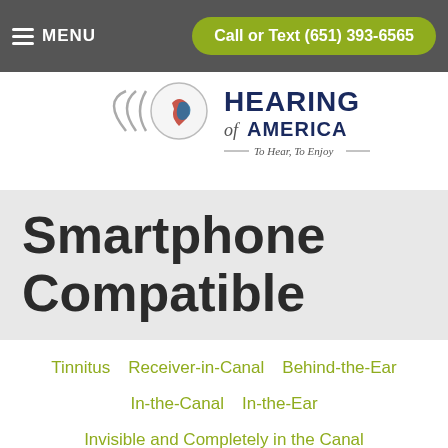MENU   Call or Text (651) 393-6565
[Figure (logo): Hearing of America logo with sound wave arcs and intertwined ear/person icon in red and blue, with tagline 'To Hear, To Enjoy']
Smartphone Compatible
Tinnitus
Receiver-in-Canal
Behind-the-Ear
In-the-Canal
In-the-Ear
Invisible and Completely in the Canal